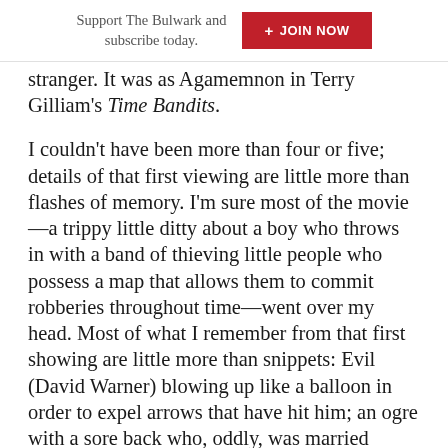Support The Bulwark and subscribe today. + JOIN NOW
stranger. It was as Agamemnon in Terry Gilliam's Time Bandits.
I couldn't have been more than four or five; details of that first viewing are little more than flashes of memory. I'm sure most of the movie—a trippy little ditty about a boy who throws in with a band of thieving little people who possess a map that allows them to commit robberies throughout time—went over my head. Most of what I remember from that first showing are little more than snippets: Evil (David Warner) blowing up like a balloon in order to expel arrows that have hit him; an ogre with a sore back who, oddly, was married